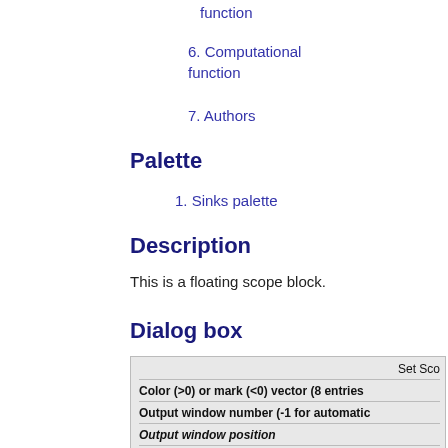function
6. Computational function
7. Authors
Palette
1. Sinks palette
Description
This is a floating scope block.
Dialog box
[Figure (screenshot): Dialog box screenshot showing Set Scope settings with fields: Color (>0) or mark (<0) vector (8 entries, Output window number (-1 for automatic, Output window position, Output window sizes]